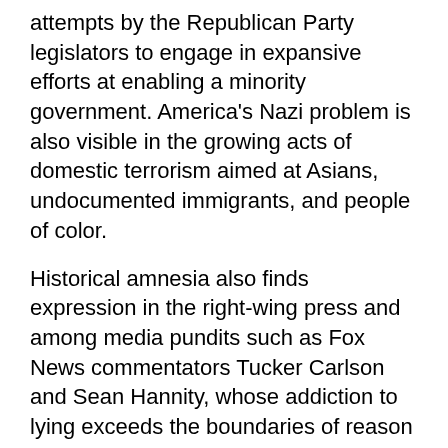attempts by the Republican Party legislators to engage in expansive efforts at enabling a minority government. America's Nazi problem is also visible in the growing acts of domestic terrorism aimed at Asians, undocumented immigrants, and people of color.
Historical amnesia also finds expression in the right-wing press and among media pundits such as Fox News commentators Tucker Carlson and Sean Hannity, whose addiction to lying exceeds the boundaries of reason and creates an echo chamber of misinformation that normalizes the unspeakable, if not the unthinkable. Rational responses now give way to emotional reactions fueled by lies whose power is expanded through their endless repetition. How else to explain the baseless claim made by them, along with a number of Republican lawmakers, right-wing pundits, and Trump's supporters who baselessly lay the blame for the storming of the US Capitol on "Antifa." These lies were